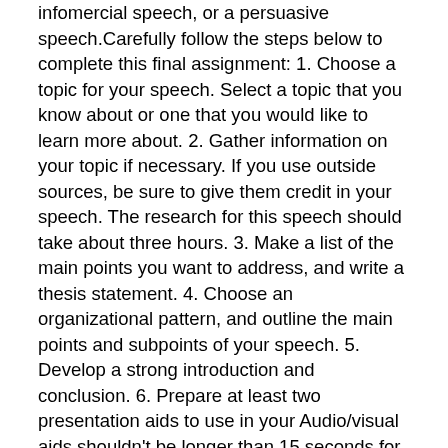infomercial speech, or a persuasive speech. Carefully follow the steps below to complete this final assignment: 1. Choose a topic for your speech. Select a topic that you know about or one that you would like to learn more about. 2. Gather information on your topic if necessary. If you use outside sources, be sure to give them credit in your speech. The research for this speech should take about three hours. 3. Make a list of the main points you want to address, and write a thesis statement. 4. Choose an organizational pattern, and outline the main points and subpoints of your speech. 5. Develop a strong introduction and conclusion. 6. Prepare at least two presentation aids to use in your Audio/visual aids shouldn't be longer than 15 seconds for three minute speeches or 30 seconds for five minute speeches. 7. Practice your speech in front of some friends or relatives. As you rehearse your speech, try to apply the concepts you've learned. Ask your audience for feedback on your presentation. If necessary, revise your speech based on the input you receive. 8. Once you've rehearsed your speech and you're satisfied with your delivery, set up a time to record the speech. Invite at least five people to serve as your audience.